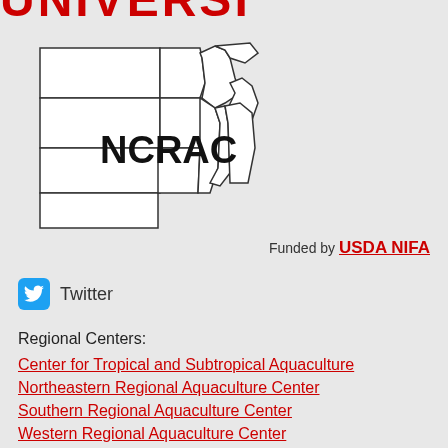UNIVERSITY
[Figure (map): NCRAC map showing north-central US states region with outline of states and 'NCRAC' label overlaid]
Funded by USDA NIFA
Twitter
Regional Centers:
Center for Tropical and Subtropical Aquaculture
Northeastern Regional Aquaculture Center
Southern Regional Aquaculture Center
Western Regional Aquaculture Center